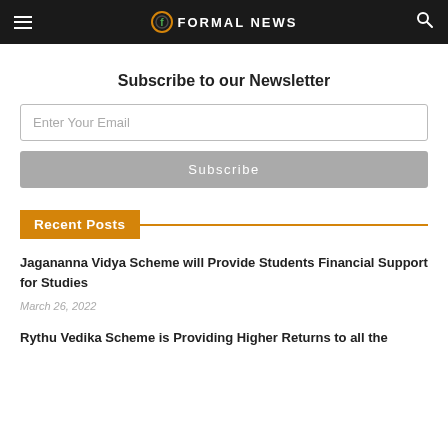FORMAL NEWS
Subscribe to our Newsletter
Enter Your Email
Subscribe
Recent Posts
Jagananna Vidya Scheme will Provide Students Financial Support for Studies
March 26, 2022
Rythu Vedika Scheme is Providing Higher Returns to all the